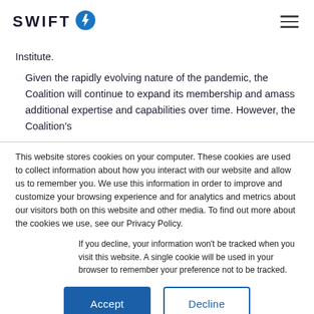SWIFT [logo icon]
Institute.
Given the rapidly evolving nature of the pandemic, the Coalition will continue to expand its membership and amass additional expertise and capabilities over time. However, the Coalition's
This website stores cookies on your computer. These cookies are used to collect information about how you interact with our website and allow us to remember you. We use this information in order to improve and customize your browsing experience and for analytics and metrics about our visitors both on this website and other media. To find out more about the cookies we use, see our Privacy Policy.
If you decline, your information won't be tracked when you visit this website. A single cookie will be used in your browser to remember your preference not to be tracked.